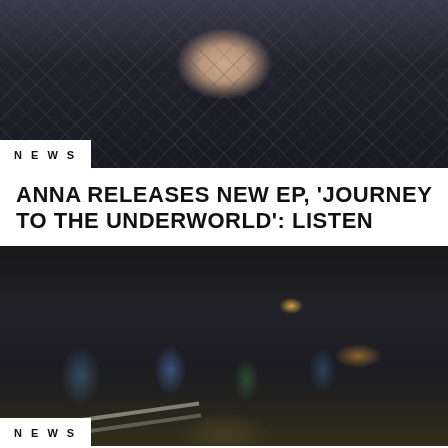[Figure (photo): Person wearing a black hoodie standing in front of a chain-link fence at night, dark atmospheric photography]
NEWS
ANNA RELEASES NEW EP, 'JOURNEY TO THE UNDERWORLD': LISTEN
[Figure (photo): Group of people standing on a wet urban street at night, wearing hoodies and casual clothing, city lights reflected on the pavement]
NEWS